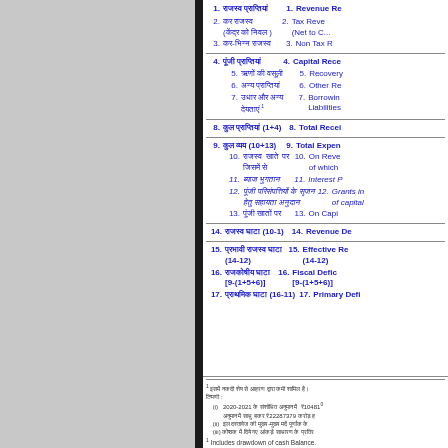1. राजस्व प्राप्तियां  1. Revenue Re...
2. कर राजस्व (केंद्र को निवल)  2. Tax Reve... (Net to C...
3. कर-भिन्न राजस्व  3. Non Tax R...
4. पूंजी प्राप्तियां  4. Capital Rece...
5. ऋणों की वसूली  5. Recovery...
6. अन्य प्राप्तियां  6. Other Re...
7. उधार और अन्य देयताएं 1  7. Borrowin... Liabilities...
8. कुल प्राप्तियां (1+4)  8. Total Recei...
9. कुल व्यय (10+13)  9. Total Expen...
10. राजस्व खाते पर जिसमें से  10. On Reven... of which
11. ब्याज भुगतान  11. Interest P...
12. पूंजी परिसंपत्तियों के सृजन हेतु सहायता अनुदान  12. Grants in... of capital...
13. पूंजी खातों पर  13. On Capi...
14. राजस्व घाटा (10-1)  14. Revenue De...
15. प्रभावी राजस्व घाटा (14-12)  15. Effective Re... (14-12)
16. राजकोषीय घाटा [9-(1+5+6)]  16. Fiscal Defic... [9-(1+5+6)]
17. प्राथमिक घाटा (16-11)  17. Primary Defi...
1 इसमें नकदी शेष से आहरण द्वारा कमी शामिल है। टिप्पणी : (i) 2020-2021 के संशोधित अनुमान में ₹10481... अनुमान में साथ जकर ₹22287379 करोड़ ... (ii) इस दस्तावेज की मुख्य-मुख्य मदें पूर्णांक के... (iii) कोष्ठक में दिये गए आंकड़े साधारण के प्रतिर... 1 Includes drawdown of cash Balance.